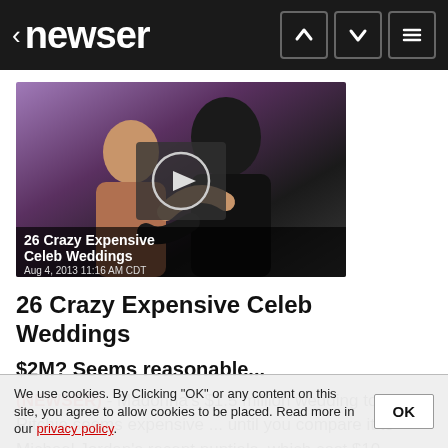< newser
[Figure (photo): Celebrity wedding photo showing two people dancing, overlaid with a video play button. Caption reads '26 Crazy Expensive Celeb Weddings' dated Aug 4, 2013 11:16 AM CDT]
26 Crazy Expensive Celeb Weddings
$2M? Seems reasonable...
(NEWSER) - Madonna's $1.5 million wedding to Guy Ritchie seems expensive ... until you compare it to Michael Jordan's recent nuptials, which cost $10 million. The ... of the 26 crazy expensive celebrity weddings Radar rounded
We use cookies. By Clicking "OK" or any content on this site, you agree to allow cookies to be placed. Read more in our privacy policy.